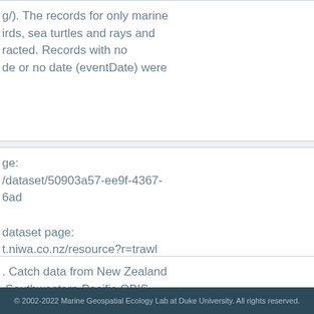g/). The records for only marine irds, sea turtles and rays and racted. Records with no de or no date (eventDate) were
ge: /dataset/50903a57-ee9f-4367-6ad dataset page: t.niwa.co.nz/resource?r=trawl
. Catch data from New Zealand Southwestern Pacific OBIS, e of Water and Atmospheric ), Wellington, New Zealand, 15157 .niwa.co.nz/resource.do?r=trawl il 19, 2017.
© 2002-2022 Marine Geospatial Ecology Lab at Duke University. All rights reserved.